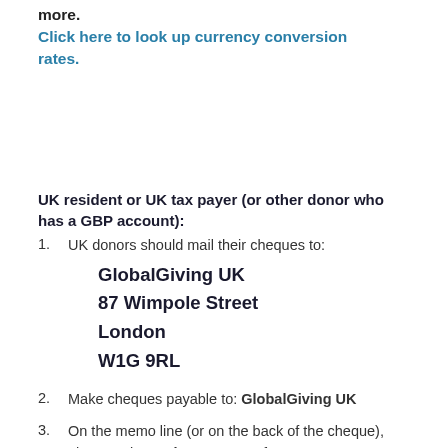more.
Click here to look up currency conversion rates.
UK resident or UK tax payer (or other donor who has a GBP account):
1. UK donors should mail their cheques to:
GlobalGiving UK
87 Wimpole Street
London
W1G 9RL
2. Make cheques payable to: GlobalGiving UK
3. On the memo line (or on the back of the cheque), please write Project #44910. If you